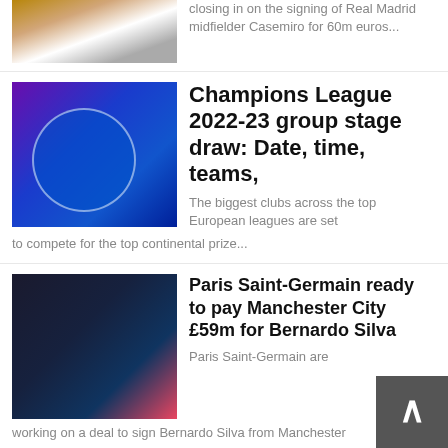closing in on the signing of Real Madrid midfielder Casemiro for 60m euros...
Champions League 2022-23 group stage draw: Date, time, teams,
The biggest clubs across the top European leagues are set to compete for the top continental prize...
Paris Saint-Germain ready to pay Manchester City £59m for Bernardo Silva
Paris Saint-Germain are working on a deal to sign Bernardo Silva from Manchester
Owners want to sell Manchester United Football Club
Billionaire Sir Jim Ratcliffe...